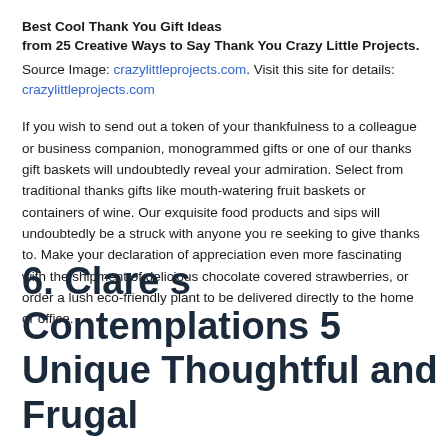Best Cool Thank You Gift Ideas from 25 Creative Ways to Say Thank You Crazy Little Projects.
Source Image: crazylittleprojects.com. Visit this site for details: crazylittleprojects.com
If you wish to send out a token of your thankfulness to a colleague or business companion, monogrammed gifts or one of our thanks gift baskets will undoubtedly reveal your admiration. Select from traditional thanks gifts like mouth-watering fruit baskets or containers of wine. Our exquisite food products and sips will undoubtedly be a struck with anyone you re seeking to give thanks to. Make your declaration of appreciation even more fascinating with the shipment of delicious chocolate covered strawberries, or order a lush eco-friendly plant to be delivered directly to the home or office.
6. Clare s Contemplations 5 Unique Thoughtful and Frugal